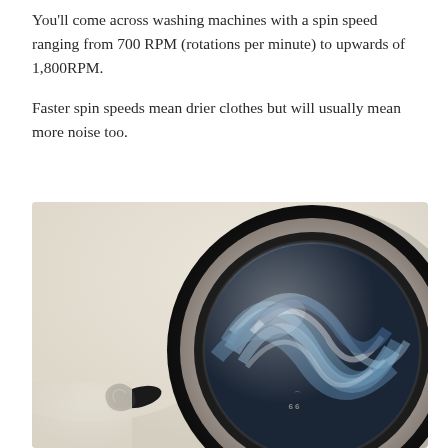You'll come across washing machines with a spin speed ranging from 700 RPM (rotations per minute) to upwards of 1,800RPM.
Faster spin speeds mean drier clothes but will usually mean more noise too.
[Figure (photo): Close-up photograph of a front-loading washing machine door porthole, showing the circular drum interior with motion blur of laundry spinning inside. The machine exterior is cream/beige colored with a black rubber door seal. An LG logo is visible on the drum door and a door handle protrudes at the lower left.]